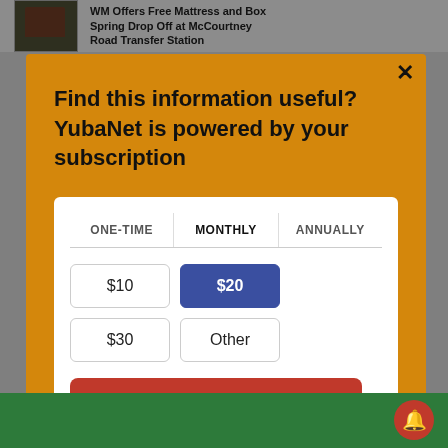WM Offers Free Mattress and Box Spring Drop Off at McCourtney Road Transfer Station
Find this information useful? YubaNet is powered by your subscription
| ONE-TIME | MONTHLY | ANNUALLY |
| --- | --- | --- |
$10  $20  $30  Other
Subscribe now!